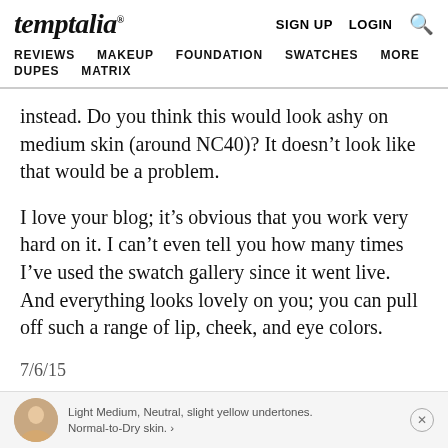temptalia® | SIGN UP  LOGIN  🔍 | REVIEWS  MAKEUP  FOUNDATION  SWATCHES  MORE  DUPES  MATRIX
instead. Do you think this would look ashy on medium skin (around NC40)? It doesn't look like that would be a problem.
I love your blog; it's obvious that you work very hard on it. I can't even tell you how many times I've used the swatch gallery since it went live. And everything looks lovely on you; you can pull off such a range of lip, cheek, and eye colors.
7/6/15
Christine
Light Medium, Neutral, slight yellow undertones. Normal-to-Dry skin. »